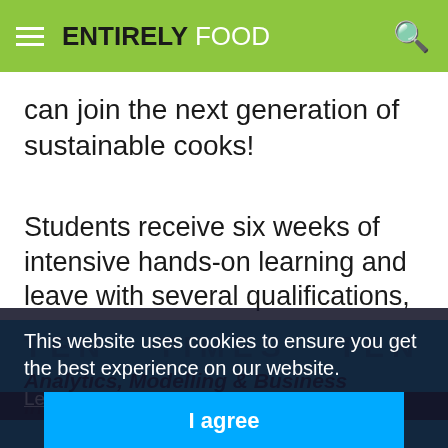ENTIRELY FOOD
can join the next generation of sustainable cooks!
Students receive six weeks of intensive hands-on learning and leave with several qualifications, including Level 3 Certificate from Open College Network (OCN) London and a Level 2 Award in Wines from the Wine & Spirits Education Trust (WSET).
This website uses cookies to ensure you get the best experience on our website.
Learn more
I agree
TEN TIMES TEN
Analytics, Modelling & Business Intelligence Specialists